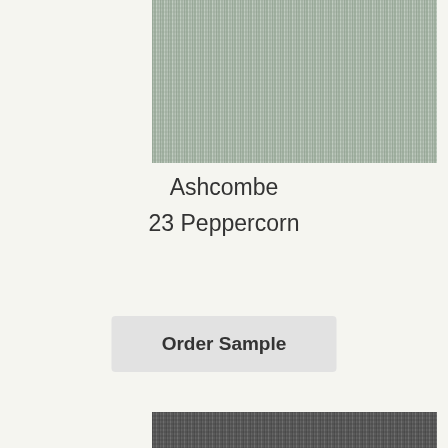[Figure (photo): Fabric swatch texture — sage green/grey woven textile pattern (Ashcombe 23 Peppercorn)]
Ashcombe
23 Peppercorn
[Figure (other): Order Sample button — light grey rounded rectangle with bold text 'Order Sample']
[Figure (photo): Fabric swatch texture — dark charcoal grey woven textile pattern]
This website uses cookies to ensure you get the best experience on our website.
Learn more
[Figure (other): Blue 'Got it!' button for cookie consent]
[Figure (other): reCAPTCHA badge with logo and Privacy · Terms text]
[Figure (photo): Partial fabric swatch texture at bottom — dark grey woven textile]